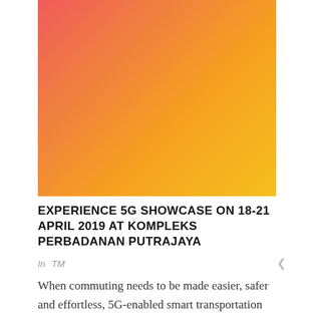[Figure (illustration): A gradient image fading from red/coral at the top-left to orange in the middle to yellow/gold at the bottom-right, serving as a hero banner image.]
EXPERIENCE 5G SHOWCASE ON 18-21 APRIL 2019 AT KOMPLEKS PERBADANAN PUTRAJAYA
In  TM
When commuting needs to be made easier, safer and effortless, 5G-enabled smart transportation system can make it happen. With real-time traffic analytics and various smart features,